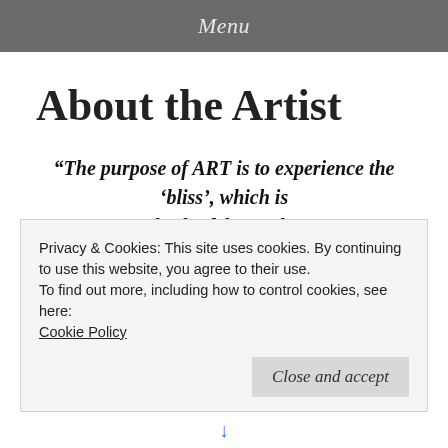Menu
About the Artist
“The purpose of ART is to experience the ‘bliss’, which is the food for soul.”
Me
Privacy & Cookies: This site uses cookies. By continuing to use this website, you agree to their use.
To find out more, including how to control cookies, see here:
Cookie Policy
Close and accept